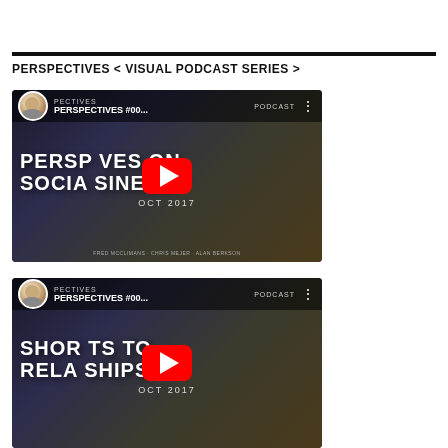PERSPECTIVES < VISUAL PODCAST SERIES >
[Figure (screenshot): YouTube video thumbnail for 'PERSPECTIVES #00...' showing 'PERSPECTIVES ON SOCIAL BUSINESS OCT 2017' with a play button overlay]
[Figure (screenshot): YouTube video thumbnail for 'PERSPECTIVES #00...' showing 'SHORTCUTS TO RELATIONSHIPS OCT 2017' with a play button overlay]